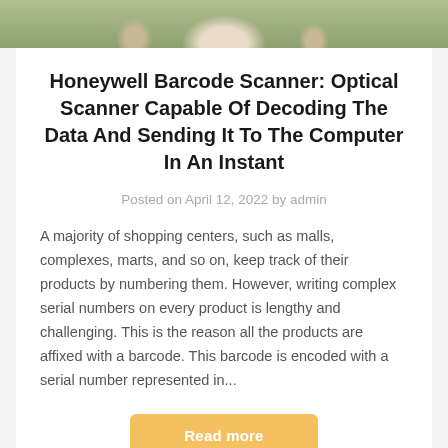[Figure (photo): Photo strip at top showing people in a shopping/warehouse setting, partially visible]
Honeywell Barcode Scanner: Optical Scanner Capable Of Decoding The Data And Sending It To The Computer In An Instant
Posted on April 12, 2022 by admin
A majority of shopping centers, such as malls, complexes, marts, and so on, keep track of their products by numbering them. However, writing complex serial numbers on every product is lengthy and challenging. This is the reason all the products are affixed with a barcode. This barcode is encoded with a serial number represented in...
Read more